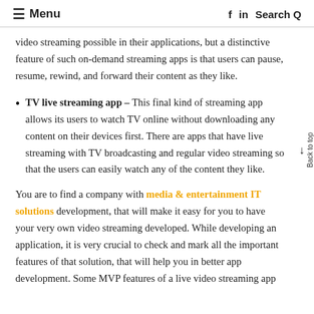≡ Menu   f  in  Search Q
video streaming possible in their applications, but a distinctive feature of such on-demand streaming apps is that users can pause, resume, rewind, and forward their content as they like.
TV live streaming app – This final kind of streaming app allows its users to watch TV online without downloading any content on their devices first. There are apps that have live streaming with TV broadcasting and regular video streaming so that the users can easily watch any of the content they like.
You are to find a company with media & entertainment IT solutions development, that will make it easy for you to have your very own video streaming developed. While developing an application, it is very crucial to check and mark all the important features of that solution, that will help you in better app development. Some MVP features of a live video streaming app